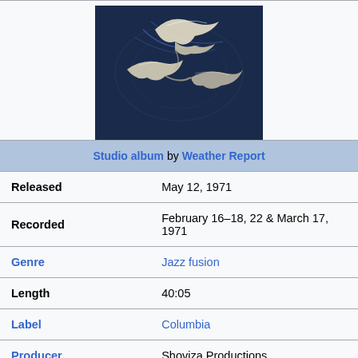[Figure (illustration): Album cover art showing abstract dark blue background with white/cream swooping abstract shapes resembling birds or waves]
Studio album by Weather Report
| Field | Value |
| --- | --- |
| Released | May 12, 1971 |
| Recorded | February 16–18, 22 & March 17, 1971 |
| Genre | Jazz fusion |
| Length | 40:05 |
| Label | Columbia |
| Producer | Shoviza Productions |